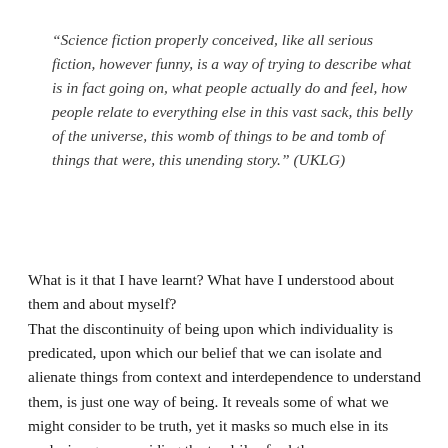“Science fiction properly conceived, like all serious fiction, however funny, is a way of trying to describe what is in fact going on, what people actually do and feel, how people relate to everything else in this vast sack, this belly of the universe, this womb of things to be and tomb of things that were, this unending story.” (UKLG)
What is it that I have learnt? What have I understood about them and about myself? That the discontinuity of being upon which individuality is predicated, upon which our belief that we can isolate and alienate things from context and interdependence to understand them, is just one way of being. It reveals some of what we might consider to be truth, yet it masks so much else in its exclusive gaze, avoiding the tendrils of subtle